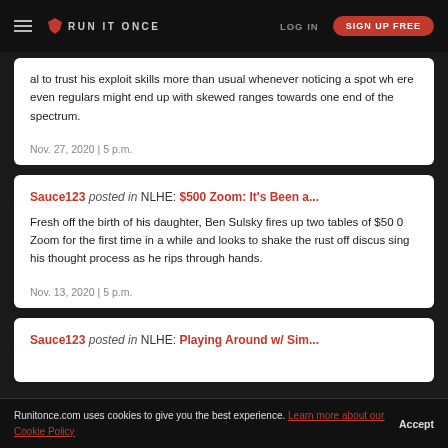RUN IT ONCE | LOG IN | SIGN UP FREE
al to trust his exploit skills more than usual whenever noticing a spot where even regulars might end up with skewed ranges towards one end of the spectrum.
Nov. 27, 2020 | 5 p.m.
Sauce123 posted in NLHE: $500 Zoom: It's Been a...
Fresh off the birth of his daughter, Ben Sulsky fires up two tables of $500 Zoom for the first time in a while and looks to shake the rust off discussing his thought process as he rips through hands.
Nov. 13, 2020 | 5 p.m.
Sauce123 posted in NLHE: Playing Around w/ Sim...
Runitonce.com uses cookies to give you the best experience. Learn more about our Cookie Policy  Accept